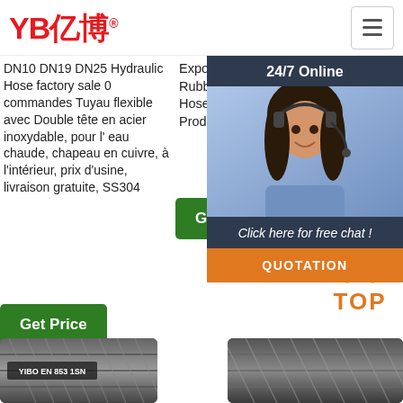YB亿博® [hamburger menu]
DN10 DN19 DN25 Hydraulic Hose factory sale 0 commandes Tuyau flexible avec Double tête en acier inoxydable, pour l'eau chaude, chapeau en cuivre, à l'intérieur, prix d'usine, livraison gratuite, SS304
Get Price
Exporting Hydraulic Rubber Hoses, Sand Hoses and 378 more Products.
Get Price
High Quality SAE100 R1 EN 853 1SN and sup Alib
[Figure (photo): Customer service representative wearing headset, smiling. Overlay widget with '24/7 Online', 'Click here for free chat!', and 'QUOTATION' button.]
[Figure (other): TOP icon with orange dots above orange TOP text]
[Figure (photo): Hydraulic hose product image bottom left - YIBO EN 853 1SN label visible]
[Figure (photo): Hydraulic hose product image bottom right - braided rubber hose]